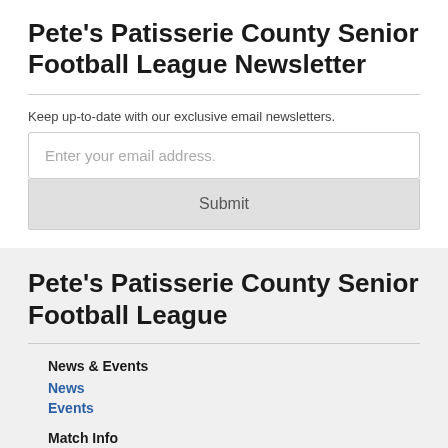Pete's Patisserie County Senior Football League Newsletter
Keep up-to-date with our exclusive email newsletters.
Enter your email address.
Submit
Pete's Patisserie County Senior Football League
News & Events
News
Events
Match Info